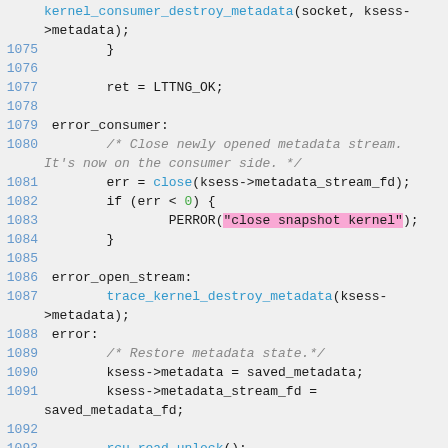kernel_consumer_destroy_metadata(socket, ksess->metadata);
1075    }
1076
1077        ret = LTTNG_OK;
1078
1079 error_consumer:
1080        /* Close newly opened metadata stream. It's now on the consumer side. */
1081        err = close(ksess->metadata_stream_fd);
1082        if (err < 0) {
1083                PERROR("close snapshot kernel");
1084        }
1085
1086 error_open_stream:
1087        trace_kernel_destroy_metadata(ksess->metadata);
1088 error:
1089        /* Restore metadata state.*/
1090        ksess->metadata = saved_metadata;
1091        ksess->metadata_stream_fd = saved_metadata_fd;
1092
1093        rcu_read_unlock();
1094        return ret;